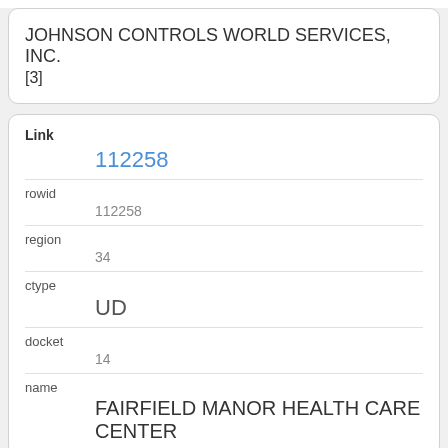JOHNSON CONTROLS WORLD SERVICES, INC.
[3]
| Link | 112258 |
| rowid | 112258 |
| region | 34 |
| ctype | UD |
| docket | 14 |
| name | FAIRFIELD MANOR HEALTH CARE CENTER |
| Link | 41258 |
| rowid | 41258 |